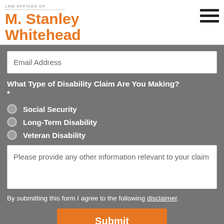LAW OFFICES OF M. Stanley Whitehead
Email Address
What Type of Disability Claim Are You Making? *
Social Security
Long-Term Disability
Veteran Disability
Please provide any other information relevant to your claim
By submitting this form I agree to the following disclaimer.